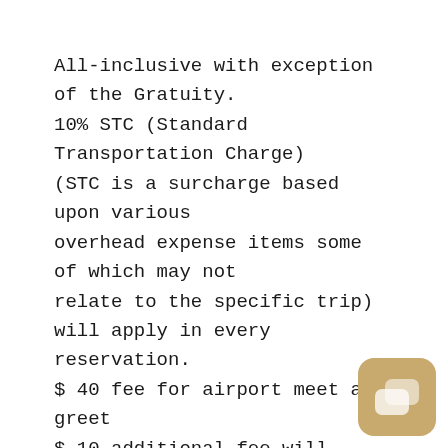All-inclusive with exception of the Gratuity. 10% STC (Standard Transportation Charge) (STC is a surcharge based upon various overhead expense items some of which may not relate to the specific trip) will apply in every reservation. $ 40 fee for airport meet and greet $ 10 additional fee will apply to all stops on route plus wait time. $ 20 additional fee for pick-ups between 12:00 AM to 5:00 AM Parking fees may apply. Please CLICK HERE e-sign your Credit Card Authorization Form at your earlier convenience.
[Figure (other): Chat or messenger app icon — rounded square in tan/gold color with two overlapping speech bubble shapes in light color]